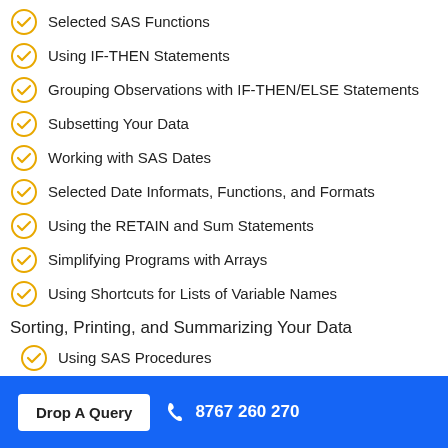Selected SAS Functions
Using IF-THEN Statements
Grouping Observations with IF-THEN/ELSE Statements
Subsetting Your Data
Working with SAS Dates
Selected Date Informats, Functions, and Formats
Using the RETAIN and Sum Statements
Simplifying Programs with Arrays
Using Shortcuts for Lists of Variable Names
Sorting, Printing, and Summarizing Your Data
Using SAS Procedures
Subsetting in Procedures with the WHERE Statement
Sorting Your Data with PROC SORT
Drop A Query   8767 260 270